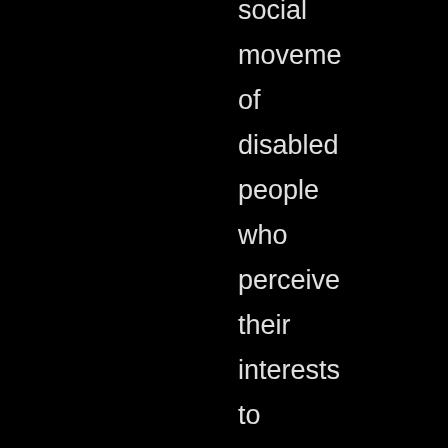social movement of disabled people who perceive their interests to themselves. They also want the company to raise awareness of disability specific needs, the self-image of disabled